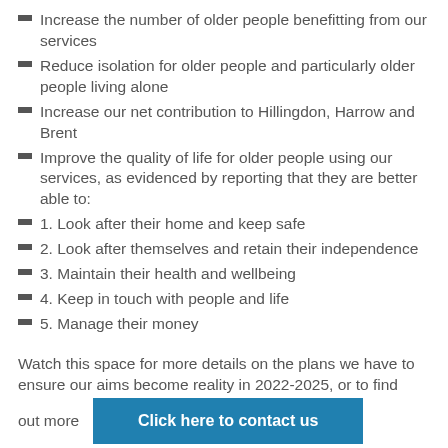Increase the number of older people benefitting from our services
Reduce isolation for older people and particularly older people living alone
Increase our net contribution to Hillingdon, Harrow and Brent
Improve the quality of life for older people using our services, as evidenced by reporting that they are better able to:
1. Look after their home and keep safe
2. Look after themselves and retain their independence
3. Maintain their health and wellbeing
4. Keep in touch with people and life
5. Manage their money
Watch this space for more details on the plans we have to ensure our aims become reality in 2022-2025, or to find out more
Click here to contact us